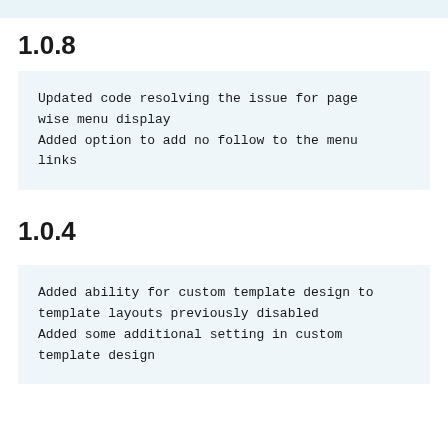1.0.8
Updated code resolving the issue for page wise menu display
Added option to add no follow to the menu links
1.0.4
Added ability for custom template design to template layouts previously disabled
Added some additional setting in custom template design